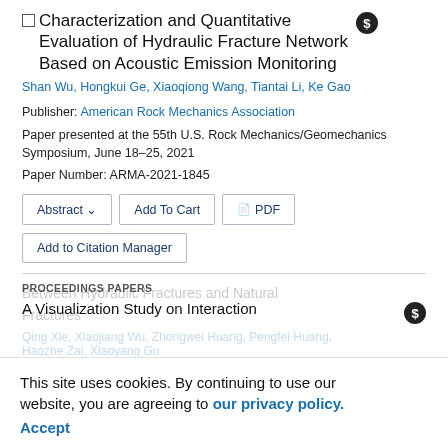Characterization and Quantitative Evaluation of Hydraulic Fracture Network Based on Acoustic Emission Monitoring
Shan Wu, Hongkui Ge, Xiaoqiong Wang, Tiantai Li, Ke Gao
Publisher: American Rock Mechanics Association
Paper presented at the 55th U.S. Rock Mechanics/Geomechanics Symposium, June 18–25, 2021
Paper Number: ARMA-2021-1845
PROCEEDINGS PAPERS
A Visualization Study on Interaction Between Hydraulic Fractures and Natural Fractures
Qing Xie, Xiaojiang Wu, Zhongwei Huang, Pengfei Huang, Haozhe Zai, Xiaoyang Gu
This site uses cookies. By continuing to use our website, you are agreeing to our privacy policy. Accept